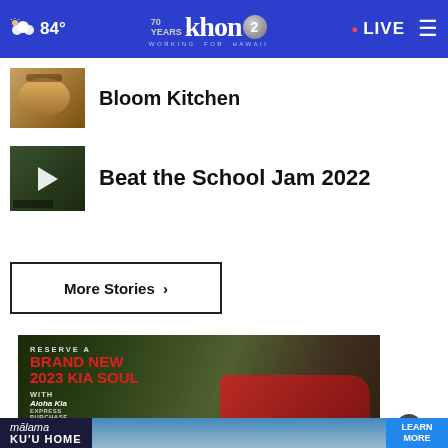84° khon2 WORKING FOR HAWAII LIVE
Bloom Kitchen
Beat the School Jam 2022
More Stories ›
[Figure (photo): Advertisement: Reserve a Brand New 2023 Kia Soul with Aloha Kia Express Purchase]
[Figure (photo): Advertisement: Malama Ku'u Home - Caring for My Beloved Home. Learn More.]